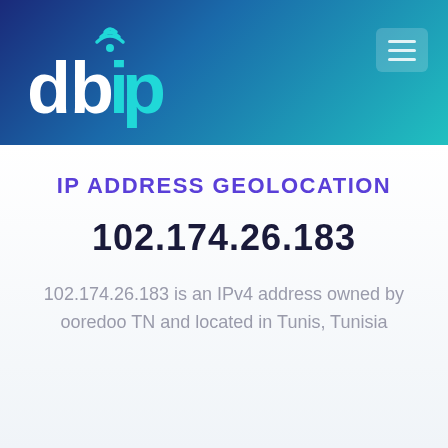[Figure (logo): db-ip logo: stylized letters 'dbip' in white/cyan on dark-to-teal gradient header, with wifi/signal arc icon above the 'i']
IP ADDRESS GEOLOCATION
102.174.26.183
102.174.26.183 is an IPv4 address owned by ooredoo TN and located in Tunis, Tunisia